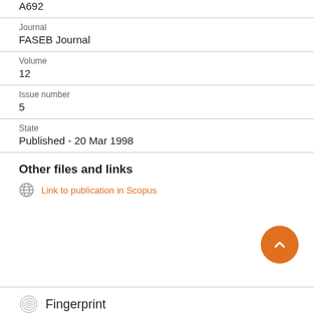A692
Journal
FASEB Journal
Volume
12
Issue number
5
State
Published - 20 Mar 1998
Other files and links
Link to publication in Scopus
Fingerprint